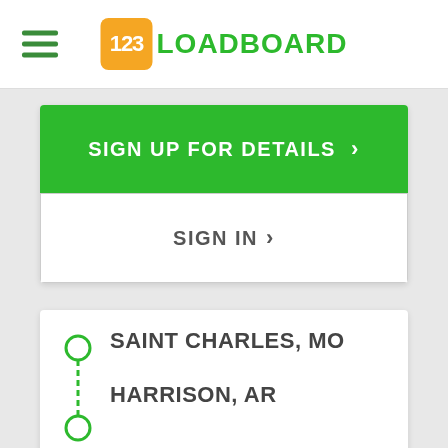123LOADBOARD
SIGN UP FOR DETAILS >
SIGN IN >
SAINT CHARLES, MO
HARRISON, AR